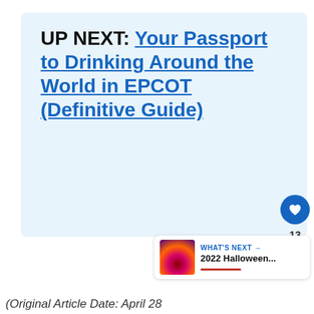UP NEXT: Your Passport to Drinking Around the World in EPCOT (Definitive Guide)
13
WHAT'S NEXT → 2022 Halloween...
(Original Article Date: April 28